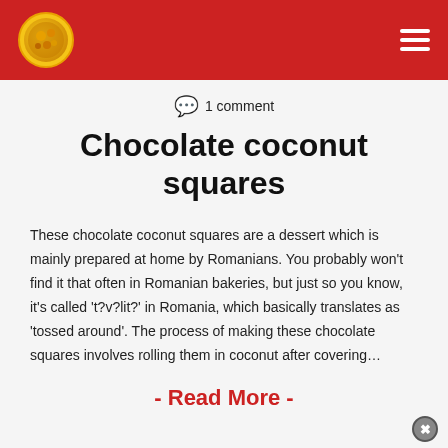1 comment
Chocolate coconut squares
These chocolate coconut squares are a dessert which is mainly prepared at home by Romanians. You probably won't find it that often in Romanian bakeries, but just so you know, it's called 't?v?lit?' in Romania, which basically translates as 'tossed around'. The process of making these chocolate squares involves rolling them in coconut after covering…
- Read More -